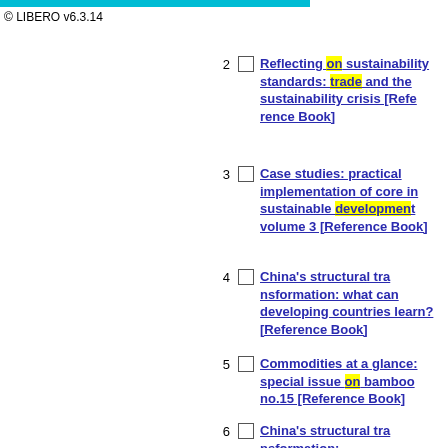© LIBERO v6.3.14
2 Reflecting on sustainability standards: trade and the sustainability crisis [Reference Book]
3 Case studies: practical implementation of core in sustainable development volume 3 [Reference Book]
4 China's structural tr... what can developing cou... [Reference Book]
5 Commodities at a gl... issue on bamboo no.15 [Reference Book]
6 China's structural tra...